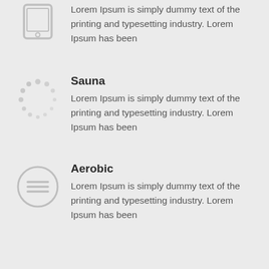[Figure (illustration): Gray tablet/mobile phone icon]
Lorem Ipsum is simply dummy text of the printing and typesetting industry. Lorem Ipsum has been
[Figure (illustration): Gray circular loading/spinner dots icon]
Sauna
Lorem Ipsum is simply dummy text of the printing and typesetting industry. Lorem Ipsum has been
[Figure (illustration): Gray circle with three horizontal lines (menu/list icon)]
Aerobic
Lorem Ipsum is simply dummy text of the printing and typesetting industry. Lorem Ipsum has been